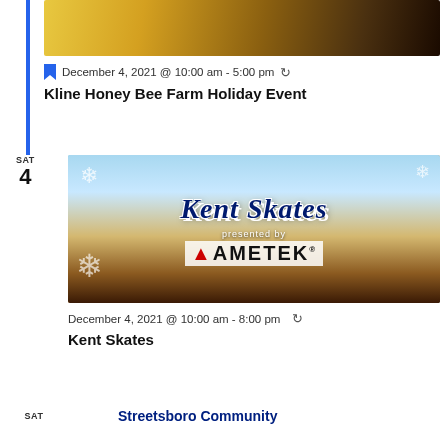[Figure (photo): Partial image of Kline Honey Bee Farm holiday items including yellow honeybee figurines and glassware]
December 4, 2021 @ 10:00 am - 5:00 pm
Kline Honey Bee Farm Holiday Event
SAT
4
[Figure (photo): Kent Skates event banner presented by AMETEK, showing an aerial view of an outdoor ice skating rink in a town center with snowflake decorations]
December 4, 2021 @ 10:00 am - 8:00 pm
Kent Skates
SAT
Streetsboro Community